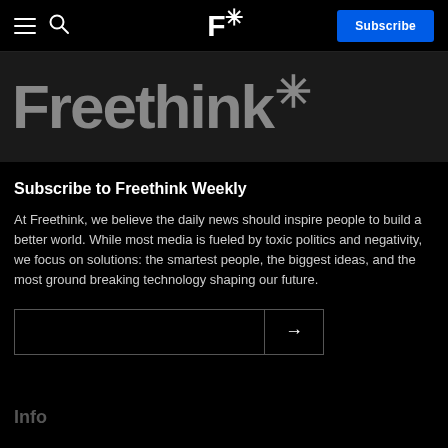Freethink* — Subscribe (navigation bar)
Freethink*
Subscribe to Freethink Weekly
At Freethink, we believe the daily news should inspire people to build a better world. While most media is fueled by toxic politics and negativity, we focus on solutions: the smartest people, the biggest ideas, and the most ground breaking technology shaping our future.
Info